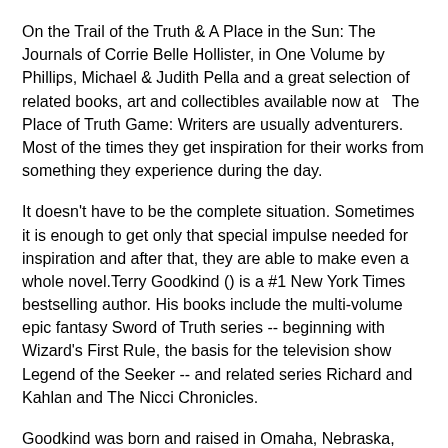On the Trail of the Truth & A Place in the Sun: The Journals of Corrie Belle Hollister, in One Volume by Phillips, Michael & Judith Pella and a great selection of related books, art and collectibles available now at   The Place of Truth Game: Writers are usually adventurers. Most of the times they get inspiration for their works from something they experience during the day.
It doesn't have to be the complete situation. Sometimes it is enough to get only that special impulse needed for inspiration and after that, they are able to make even a whole novel.Terry Goodkind () is a #1 New York Times bestselling author. His books include the multi-volume epic fantasy Sword of Truth series -- beginning with Wizard's First Rule, the basis for the television show Legend of the Seeker -- and related series Richard and Kahlan and The Nicci Chronicles.
Goodkind was born and raised in Omaha, Nebraska, where he also attended art school.